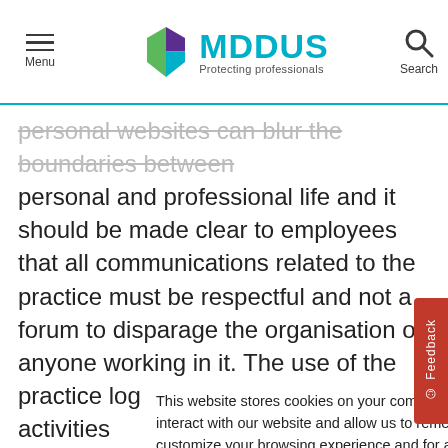Menu | MDDUS Protecting professionals | Search
personal websites can blur the boundaries between personal and professional life and it should be made clear to employees that all communications related to the practice must be respectful and not a forum to disparage the organisation or anyone working in it. The use of the practice logo or pictures of any activities
This website stores cookies on your computer. These cookies are used to collect information about how you interact with our website and allow us to remember you. We use this information in order to improve and customize your browsing experience and for analytics and metrics about our visitors both on this website and other media. To find out more about the cookies we use, see our Privacy Notice. For more information on cookies and how to manage, delete and disable them please visit https://www.allaboutcookies.org/
Accept